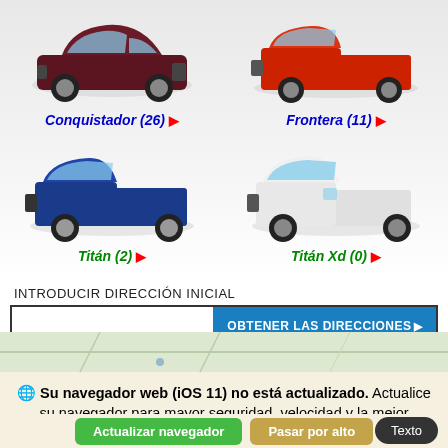[Figure (screenshot): Nissan Conquistador SUV in dark red/maroon color]
Conquistador (26) ▶
[Figure (screenshot): Nissan Frontera pickup truck in red color]
Frontera (11) ▶
[Figure (screenshot): Nissan Titan pickup truck in blue color]
Titán (2) ▶
[Figure (screenshot): Nissan Titan Xd pickup truck in white color]
Titán Xd (0) ▶
INTRODUCIR DIRECCIÓN INICIAL
OBTENER LAS DIRECCIONES▶
[Figure (map): Map strip showing roads]
🌐 Su navegador web (iOS 11) no está actualizado. Actualice su navegador para mayor seguridad, velocidad y la mejor experiencia en este sitio.
Actualizar navegador
Pasar por alto
Texto